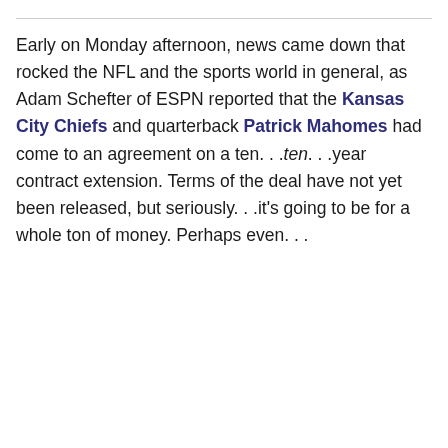Early on Monday afternoon, news came down that rocked the NFL and the sports world in general, as Adam Schefter of ESPN reported that the Kansas City Chiefs and quarterback Patrick Mahomes had come to an agreement on a ten. . .ten. . .year contract extension. Terms of the deal have not yet been released, but seriously. . .it's going to be for a whole ton of money. Perhaps even. . .